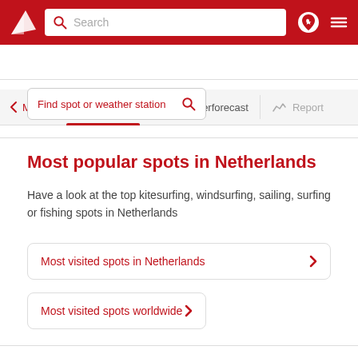[Figure (screenshot): Website header with red background, Windfinder logo (white triangle), white search box with placeholder 'Search', location pin icon, and hamburger menu icon]
[Figure (screenshot): Navigation tab bar with Maps (chevron left), Forecast (active, binoculars icon), Superforecast (binoculars icon), Report (chart icon) tabs]
Find spot or weather station
Most popular spots in Netherlands
Have a look at the top kitesurfing, windsurfing, sailing, surfing or fishing spots in Netherlands
Most visited spots in Netherlands
Most visited spots worldwide